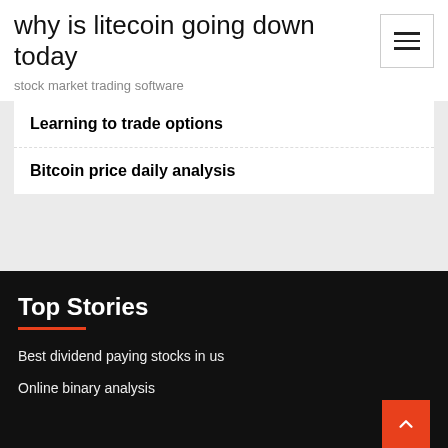why is litecoin going down today
stock market trading software
Learning to trade options
Bitcoin price daily analysis
Top Stories
Best dividend paying stocks in us
Online binary analysis